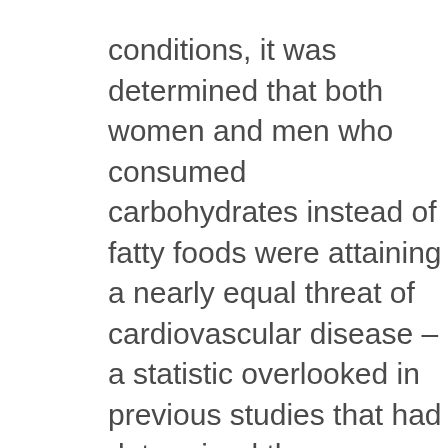conditions, it was determined that both women and men who consumed carbohydrates instead of fatty foods were attaining a nearly equal threat of cardiovascular disease – a statistic overlooked in previous studies that had determined there was no benefit to decreasing the level of saturated fat in a meal plan.
So, what might be the takeaway from this study? Improved heart health may be gained by not just reducing the total amount of saturated fat in a dietary plan, but also by choosing healthier items instead of foods with high levels of sugar